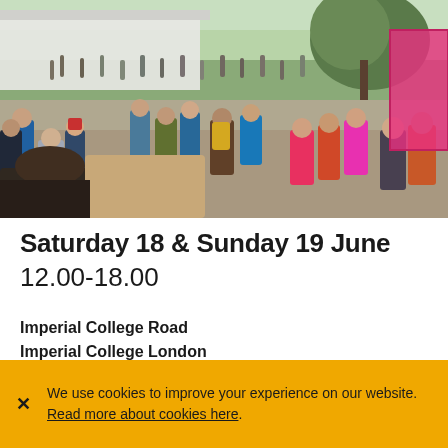[Figure (photo): Outdoor crowd scene at Imperial College London event. Many people walking along a wide outdoor path between tents and trees on a sunny day.]
Saturday 18 & Sunday 19 June
12.00-18.00
Imperial College Road
Imperial College London
We use cookies to improve your experience on our website. Read more about cookies here.